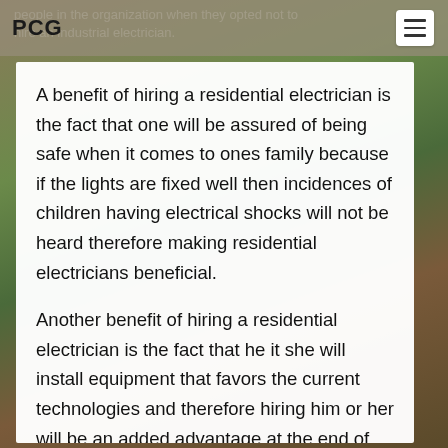PCG
people in the organization when they opted not to hire an industrial electrician.
A benefit of hiring a residential electrician is the fact that one will be assured of being safe when it comes to ones family because if the lights are fixed well then incidences of children having electrical shocks will not be heard therefore making residential electricians beneficial.
Another benefit of hiring a residential electrician is the fact that he it she will install equipment that favors the current technologies and therefore hiring him or her will be an added advantage at the end of the day.
Another benefit of hiring a residential electrician is